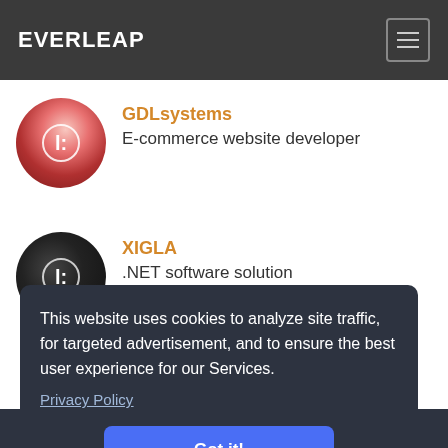EVERLEAP
GDLsystems
E-commerce website developer
XIGLA
.NET software solution
This website uses cookies to analyze site traffic, for targeted advertisement, and to ensure the best user experience for our Services.
Privacy Policy
Got it!
to use our support?